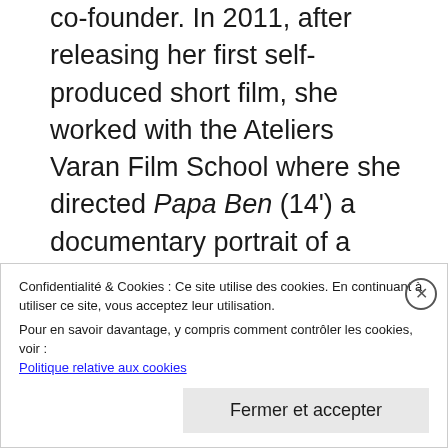co-founder. In 2011, after releasing her first self-produced short film, she worked with the Ateliers Varan Film School where she directed Papa Ben (14') a documentary portrait of a Parisian ragpicker. The film was screened at the 2012 FIFE International Film Festival. In 2014, she completed her first major film, Barakeden, the little house maids of Bamako (57'). Distributed by L'Echangeur, the film was selected by 40 Film festivals, bought by 2 international distributors and has seen one theatrical screening in Bamako as well as a national film tour in Mali. Today, Adeline continues to lead video workshops in the Ile-de-France region: schools, hostels, prisons... In 2015, she started to develop the documentary project In Boubou's
Confidentialité & Cookies : Ce site utilise des cookies. En continuant à utiliser ce site, vous acceptez leur utilisation.
Pour en savoir davantage, y compris comment contrôler les cookies, voir :
Politique relative aux cookies
Fermer et accepter